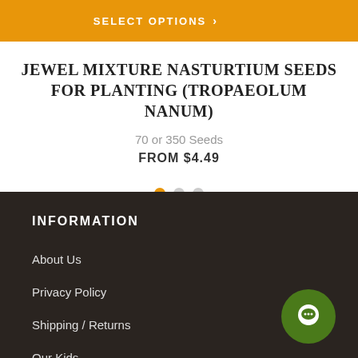[Figure (screenshot): Orange SELECT OPTIONS button bar at top of page]
JEWEL MIXTURE NASTURTIUM SEEDS FOR PLANTING (TROPAEOLUM NANUM)
70 or 350 Seeds
FROM $4.49
[Figure (other): Carousel dots: one orange active dot and two grey inactive dots]
INFORMATION
About Us
Privacy Policy
Shipping / Returns
Our Kids